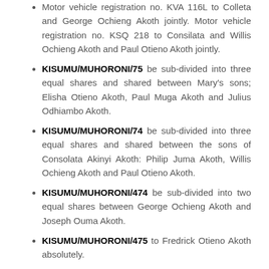Motor vehicle registration no. KVA 116L to Colleta and George Ochieng Akoth jointly. Motor vehicle registration no. KSQ 218 to Consilata and Willis Ochieng Akoth and Paul Otieno Akoth jointly.
KISUMU/MUHORONI/75 be sub-divided into three equal shares and shared between Mary's sons; Elisha Otieno Akoth, Paul Muga Akoth and Julius Odhiambo Akoth.
KISUMU/MUHORONI/74 be sub-divided into three equal shares and shared between the sons of Consolata Akinyi Akoth: Philip Juma Akoth, Willis Ochieng Akoth and Paul Otieno Akoth.
KISUMU/MUHORONI/474 be sub-divided into two equal shares between George Ochieng Akoth and Joseph Ouma Akoth.
KISUMU/MUHORONI/475 to Fredrick Otieno Akoth absolutely.